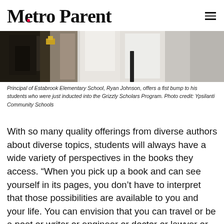Metro Parent
[Figure (photo): Photo showing the lower portion of people in white shirts/clothing, cropped — part of a scene at Estabrook Elementary School involving the Grizzly Scholars Program induction with Principal Ryan Johnson.]
Principal of Estabrook Elementary School, Ryan Johnson, offers a fist bump to his students who were just inducted into the Grizzly Scholars Program. Photo credit: Ypsilanti Community Schools
With so many quality offerings from diverse authors about diverse topics, students will always have a wide variety of perspectives in the books they access. “When you pick up a book and can see yourself in its pages, you don’t have to interpret that those possibilities are available to you and your life. You can envision that you can travel or be a poet or writer or engineer or doctor or lawyer or teacher.”